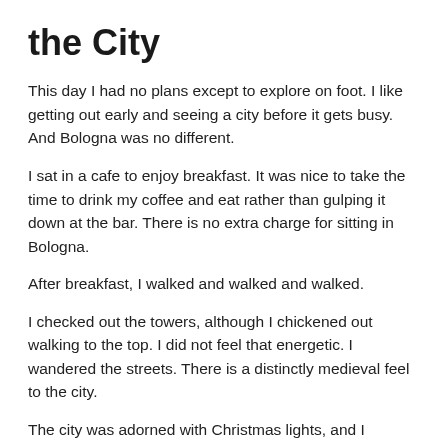the City
This day I had no plans except to explore on foot. I like getting out early and seeing a city before it gets busy. And Bologna was no different.
I sat in a cafe to enjoy breakfast. It was nice to take the time to drink my coffee and eat rather than gulping it down at the bar. There is no extra charge for sitting in Bologna.
After breakfast, I walked and walked and walked.
I checked out the towers, although I chickened out walking to the top. I did not feel that energetic. I wandered the streets. There is a distinctly medieval feel to the city.
The city was adorned with Christmas lights, and I wandered around a lovely Christmas Market.